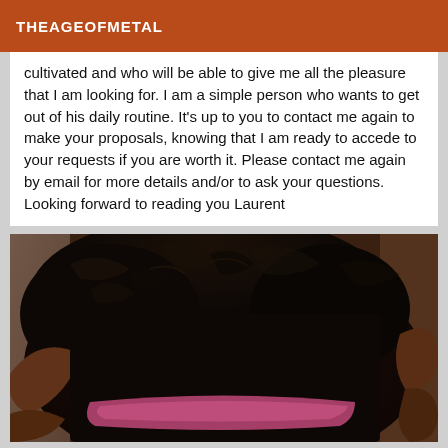THEAGEOFMETAL
cultivated and who will be able to give me all the pleasure that I am looking for. I am a simple person who wants to get out of his daily routine. It's up to you to contact me again to make your proposals, knowing that I am ready to accede to your requests if you are worth it. Please contact me again by email for more details and/or to ask your questions. Looking forward to reading you Laurent
[Figure (photo): Close-up photograph of a person with dark curly hair, dark clothing, and pink underwear visible, lying down.]